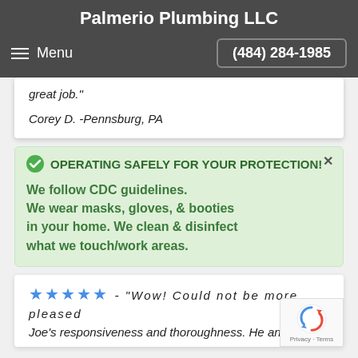Palmerio Plumbing LLC
Menu   (484) 284-1985
great job."
Corey D. -Pennsburg, PA
OPERATING SAFELY FOR YOUR PROTECTION!
We follow CDC guidelines. We wear masks, gloves, & booties in your home. We clean & disinfect what we touch/work areas.
★★★★★ - "Wow! Could not be more pleased Joe's responsiveness and thoroughness. He answered